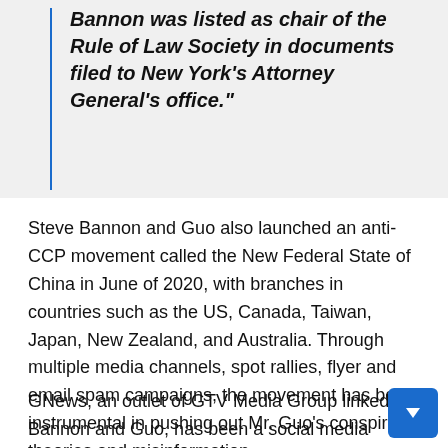Bannon was listed as chair of the Rule of Law Society in documents filed to New York's Attorney General's office."
Steve Bannon and Guo also launched an anti-CCP movement called the New Federal State of China in June of 2020, with branches in countries such as the US, Canada, Taiwan, Japan, New Zealand, and Australia. Through multiple media channels, spot rallies, flyer and email spam campaigns, the movement has been instrumental in pushing out Mr. Guo's conspiracy theories and misinformation.
GNews, an outlet of GTV Media Group linked to Bannon and Guo, has been a social media